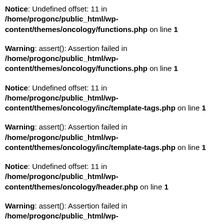Notice: Undefined offset: 11 in /home/progonc/public_html/wp-content/themes/oncology/functions.php on line 1
Warning: assert(): Assertion failed in /home/progonc/public_html/wp-content/themes/oncology/functions.php on line 1
Notice: Undefined offset: 11 in /home/progonc/public_html/wp-content/themes/oncology/inc/template-tags.php on line 1
Warning: assert(): Assertion failed in /home/progonc/public_html/wp-content/themes/oncology/inc/template-tags.php on line 1
Notice: Undefined offset: 11 in /home/progonc/public_html/wp-content/themes/oncology/header.php on line 1
Warning: assert(): Assertion failed in /home/progonc/public_html/wp-content/themes/oncology/wp-